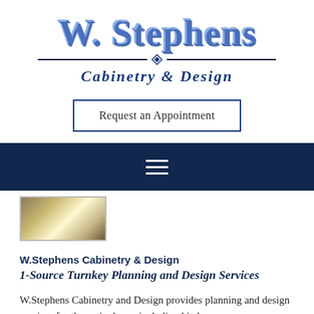[Figure (logo): W. Stephens Cabinetry & Design logo with decorative script lettering and divider with diamond ornament]
Request an Appointment
[Figure (other): Dark navy navigation bar with hamburger menu icon]
[Figure (photo): Thumbnail photo of a kitchen or cabinetry project]
W.Stephens Cabinetry & Design
1-Source Turnkey Planning and Design Services
W.Stephens Cabinetry and Design provides planning and design services for the entire home including kitchens,